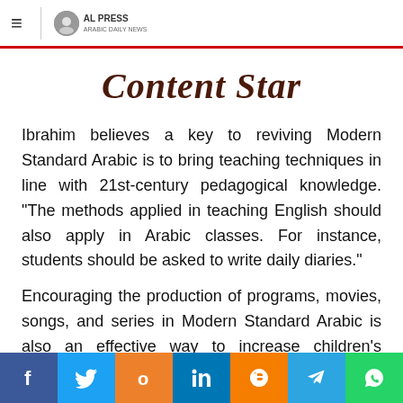≡  AL PRESS
Content Star
Ibrahim believes a key to reviving Modern Standard Arabic is to bring teaching techniques in line with 21st-century pedagogical knowledge. "The methods applied in teaching English should also apply in Arabic classes. For instance, students should be asked to write daily diaries."
Encouraging the production of programs, movies, songs, and series in Modern Standard Arabic is also an effective way to increase children's exposure to the language.
"In fact, a study conducted by one of my former post-
Social share buttons: Facebook, Twitter, OK, LinkedIn, Blogger, Telegram, WhatsApp